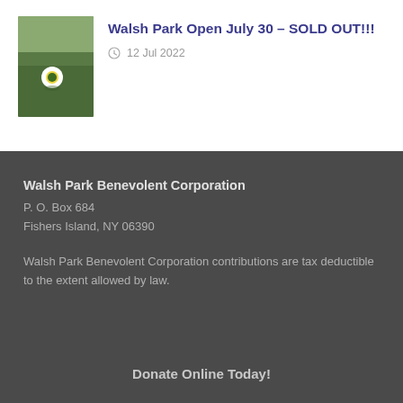[Figure (photo): Golf ball on green grass with a logo, outdoor course setting]
Walsh Park Open July 30 – SOLD OUT!!!
12 Jul 2022
Walsh Park Benevolent Corporation
P. O. Box 684
Fishers Island, NY 06390
Walsh Park Benevolent Corporation contributions are tax deductible to the extent allowed by law.
Donate Online Today!